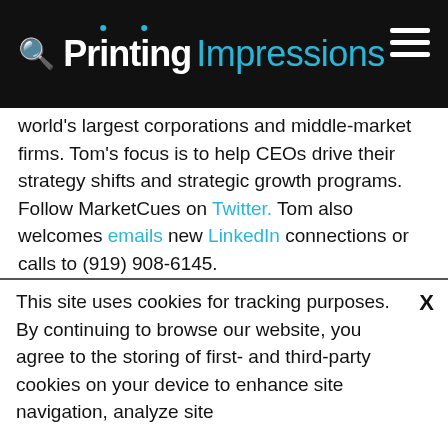Printing Impressions
world's largest corporations and middle-market firms. Tom's focus is to help CEOs drive their strategy shifts and strategic growth programs. Follow MarketCues on Twitter. Tom also welcomes emails new LinkedIn connections or calls to (919) 908-6145.
This site uses cookies for tracking purposes. By continuing to browse our website, you agree to the storing of first- and third-party cookies on your device to enhance site navigation, analyze site usage, and assist in our marketing and
Accept and Close ✕
Your browser settings do not allow cross-site tracking for advertising. Click on this page to allow AdRoll to use cross-site tracking to tailor ads to you. Learn more or opt out of this AdRoll tracking by clicking here. This message only appears once.